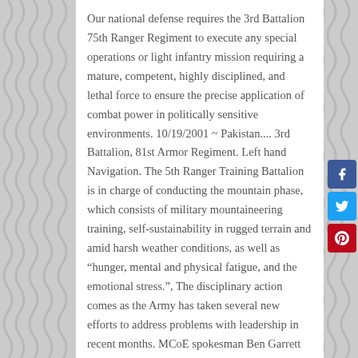Our national defense requires the 3rd Battalion 75th Ranger Regiment to execute any special operations or light infantry mission requiring a mature, competent, highly disciplined, and lethal force to ensure the precise application of combat power in politically sensitive environments. 10/19/2001 ~ Pakistan.... 3rd Battalion, 81st Armor Regiment. Left hand Navigation. The 5th Ranger Training Battalion is in charge of conducting the mountain phase, which consists of military mountaineering training, self-sustainability in rugged terrain and amid harsh weather conditions, as well as “hunger, mental and physical fatigue, and the emotional stress.”, The disciplinary action comes as the Army has taken several new efforts to address problems with leadership in recent months. MCoE spokesman Ben Garrett said the 5th Ranger Training Battalion commander was first suspended on Oct. 30, while an investigation into the alleged misconduct was ongoing. in the desert of Kambodschistan during Operation Bloodmoney